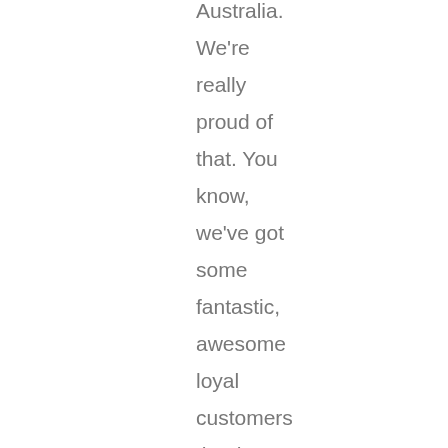Australia. We're really proud of that. You know, we've got some fantastic, awesome loyal customers that have been with